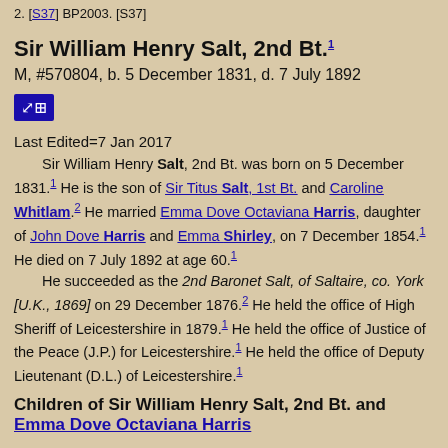2. [S37] BP2003. [S37]
Sir William Henry Salt, 2nd Bt.1
M, #570804, b. 5 December 1831, d. 7 July 1892
Last Edited=7 Jan 2017
Sir William Henry Salt, 2nd Bt. was born on 5 December 1831.1 He is the son of Sir Titus Salt, 1st Bt. and Caroline Whitlam.2 He married Emma Dove Octaviana Harris, daughter of John Dove Harris and Emma Shirley, on 7 December 1854.1 He died on 7 July 1892 at age 60.1
He succeeded as the 2nd Baronet Salt, of Saltaire, co. York [U.K., 1869] on 29 December 1876.2 He held the office of High Sheriff of Leicestershire in 1879.1 He held the office of Justice of the Peace (J.P.) for Leicestershire.1 He held the office of Deputy Lieutenant (D.L.) of Leicestershire.1
Children of Sir William Henry Salt, 2nd Bt. and Emma Dove Octaviana Harris